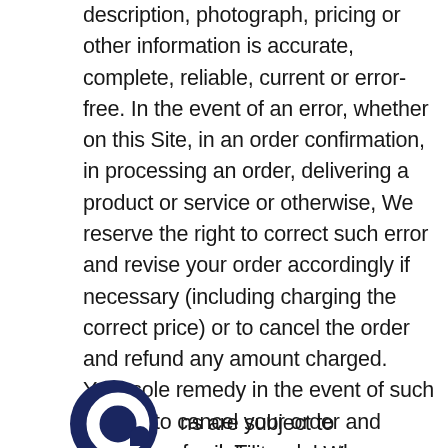description, photograph, pricing or other information is accurate, complete, reliable, current or error-free. In the event of an error, whether on this Site, in an order confirmation, in processing an order, delivering a product or service or otherwise, We reserve the right to correct such error and revise your order accordingly if necessary (including charging the correct price) or to cancel the order and refund any amount charged. Your sole remedy in the event of such error is to cancel your order and obtain a refund. To explore the possibility of other resolutions, please contact info@cubeco.co.za.
[Figure (logo): Dark navy blue circular logo with a hollow circle cutout in the center-right, resembling a speech bubble or letter Q]
ns are subject to availability and We reserve the right to impose quantity limits on